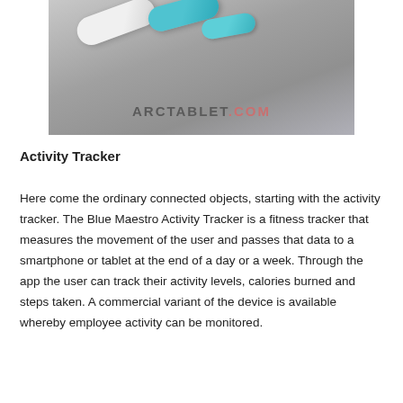[Figure (photo): Photo of two pill/capsule-shaped activity tracker devices on a grey background — one white, one blue — with an ARCTABLET.COM watermark overlaid.]
Activity Tracker
Here come the ordinary connected objects, starting with the activity tracker. The Blue Maestro Activity Tracker is a fitness tracker that measures the movement of the user and passes that data to a smartphone or tablet at the end of a day or a week. Through the app the user can track their activity levels, calories burned and steps taken. A commercial variant of the device is available whereby employee activity can be monitored.